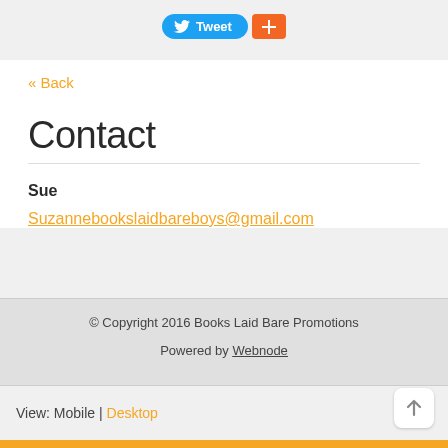[Figure (infographic): Tweet button (blue, with Twitter bird icon) and a Google+ button (orange with plus icon)]
« Back
Contact
Sue
Suzannebookslaidbareboys@gmail.com
© Copyright 2016 Books Laid Bare Promotions
Powered by Webnode
View: Mobile | Desktop